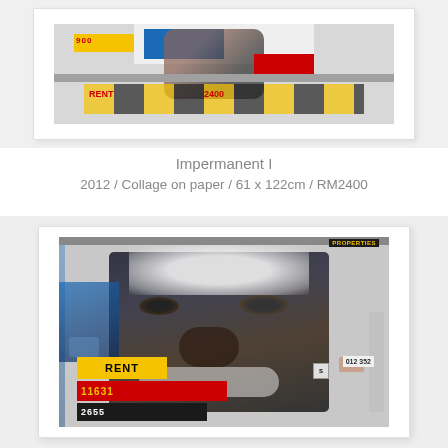[Figure (photo): Top portion of a framed collage artwork showing torn posters and paper fragments with colorful text, numbers, and imagery]
Impermanent I
2012 / Collage on paper / 61 x 122cm / RM2400
[Figure (photo): Framed collage artwork titled 'Impermanent I' showing a face made from torn posters and paper scraps, with 'RENT', '11631', and '2655' visible among colorful fragments]